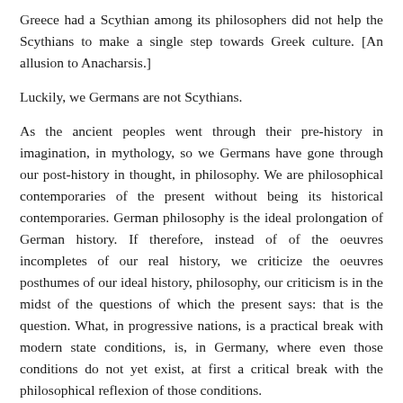Greece had a Scythian among its philosophers did not help the Scythians to make a single step towards Greek culture. [An allusion to Anacharsis.]
Luckily, we Germans are not Scythians.
As the ancient peoples went through their pre-history in imagination, in mythology, so we Germans have gone through our post-history in thought, in philosophy. We are philosophical contemporaries of the present without being its historical contemporaries. German philosophy is the ideal prolongation of German history. If therefore, instead of of the oeuvres incompletes of our real history, we criticize the oeuvres posthumes of our ideal history, philosophy, our criticism is in the midst of the questions of which the present says: that is the question. What, in progressive nations, is a practical break with modern state conditions, is, in Germany, where even those conditions do not yet exist, at first a critical break with the philosophical reflexion of those conditions.
German philosophy of right and state is the only German...